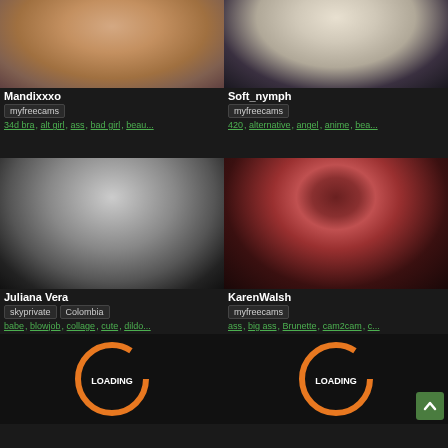[Figure (photo): Profile photo of Mandixxxo, close-up face and upper body with tattoos]
Mandixxxo
myfreecams
34d bra, alt girl, ass, bad girl, beau...
[Figure (photo): Profile photo of Soft_nymph, blonde hair, close-up face]
Soft_nymph
myfreecams
420, alternative, angel, anime, bea...
[Figure (photo): Black and white photo of Juliana Vera]
Juliana Vera
skyprivate  Colombia
babe, blowjob, collage, cute, dildo...
[Figure (photo): Profile photo of KarenWalsh, dark hair, red lips]
KarenWalsh
myfreecams
ass, big ass, Brunette, cam2cam, c...
[Figure (screenshot): Loading spinner with orange circle on black background]
[Figure (screenshot): Loading spinner with orange circle on black background, with green scroll-to-top button]